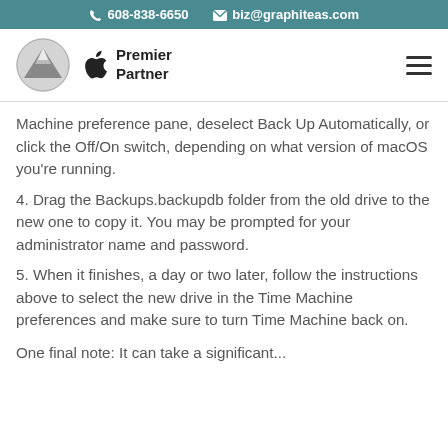608-838-6650  biz@graphiteas.com
[Figure (logo): Graphiteas mountain logo circle and Apple Premier Partner logo with text]
Machine preference pane, deselect Back Up Automatically, or click the Off/On switch, depending on what version of macOS you’re running.
4. Drag the Backups.backupdb folder from the old drive to the new one to copy it. You may be prompted for your administrator name and password.
5. When it finishes, a day or two later, follow the instructions above to select the new drive in the Time Machine preferences and make sure to turn Time Machine back on.
One final note: It can take a significant...